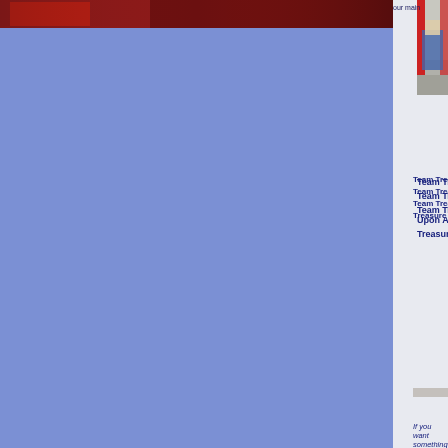[Figure (photo): Red and dark image at top left, appears to be a partial view of a person or scene with red tones]
[Figure (photo): Photo of a person crouching near a red British telephone box/booth]
our main
Team Treasure Hunt London
Team Treasure Hunt Birmingham
Team Treasure Hunt Stratford Upon Avon
Treasure Hunt London
Team Treasur
Treasure Hun
Team Treasur
Team Treasur
If you want something that's not listed th